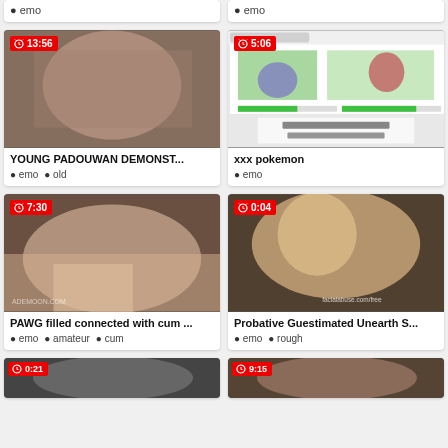● emo (top left card tag)
● emo (top right card tag)
[Figure (screenshot): Video thumbnail of adult content, duration 13:56]
YOUNG PADOUWAN DEMONST...
● emo  ● old
[Figure (screenshot): Video thumbnail showing Pokemon battle screenshot, duration 5:06]
xxx pokemon
● emo
[Figure (screenshot): Video thumbnail of adult content, duration 7:30]
PAWG filled connected with cum ...
● emo  ● amateur  ● cum
[Figure (screenshot): Video thumbnail of adult content, duration 0:04]
Probative Guestimated Unearth S...
● emo  ● rough
[Figure (screenshot): Partial video thumbnail, duration 0:21]
[Figure (screenshot): Partial video thumbnail, duration 9:15]